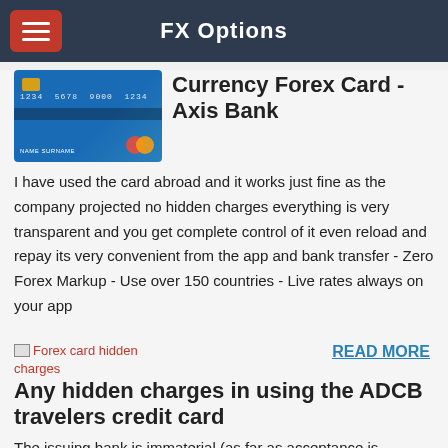FX Options
[Figure (photo): Credit card image showing card number 1234 5678 9000 1234 with MasterCard logo on blue background]
Currency Forex Card - Axis Bank
I have used the card abroad and it works just fine as the company projected no hidden charges everything is very transparent and you get complete control of it even reload and repay its very convenient from the app and bank transfer - Zero Forex Markup - Use over 150 countries - Live rates always on your app
[Figure (photo): Broken image placeholder for Forex card hidden charges]
READ MORE
Any hidden charges in using the ADCB travelers credit card
The issuing bank is immaterial (as far as acceptance is concerned) as all forex cards are either on Visa or Master platform. One should check the reach(available